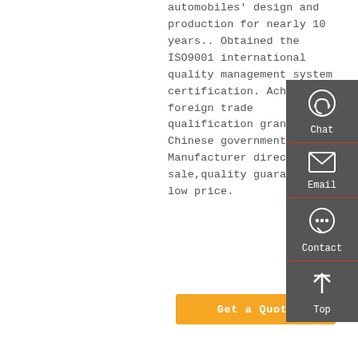automobiles' design and production for nearly 10 years.. Obtained the ISO9001 international quality management system certification. Achieved foreign trade qualification granted by Chinese government.. Manufacturer direct sale,quality guaranteed, low price.
[Figure (infographic): Dark grey sidebar panel with four action items: Chat (headset icon), Email (envelope icon), Contact (speech bubble icon), Top (up arrow icon), separated by red horizontal lines.]
Get a Quote